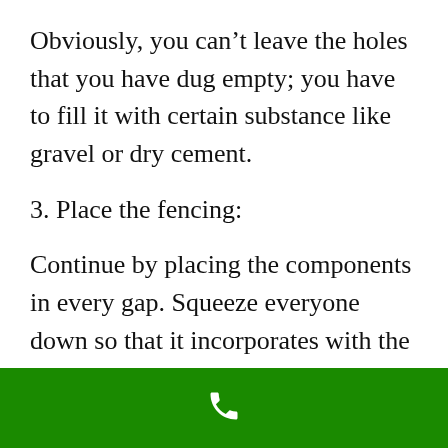Obviously, you can't leave the holes that you have dug empty; you have to fill it with certain substance like gravel or dry cement.
3. Place the fencing:
Continue by placing the components in every gap. Squeeze everyone down so that it incorporates with the ground and particularly if the posts are not heavy. After that, you have to ensure that it gets
[Figure (other): Green navigation bar at the bottom with a white phone/call icon in the center]